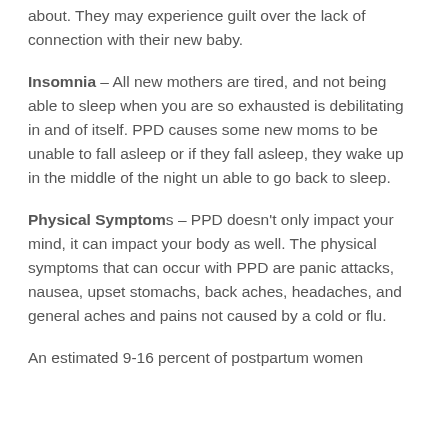about. They may experience guilt over the lack of connection with their new baby.
Insomnia – All new mothers are tired, and not being able to sleep when you are so exhausted is debilitating in and of itself. PPD causes some new moms to be unable to fall asleep or if they fall asleep, they wake up in the middle of the night un able to go back to sleep.
Physical Symptoms – PPD doesn't only impact your mind, it can impact your body as well. The physical symptoms that can occur with PPD are panic attacks, nausea, upset stomachs, back aches, headaches, and general aches and pains not caused by a cold or flu.
An estimated 9-16 percent of postpartum women will experience PPD. While it is a very real issue